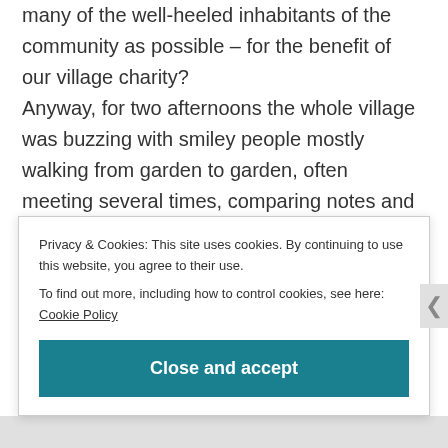many of the well-heeled inhabitants of the community as possible – for the benefit of our village charity?
Anyway, for two afternoons the whole village was buzzing with smiley people mostly walking from garden to garden, often meeting several times, comparing notes and just...well, hanging out and chatting.  Quite apart from old friends meeting and greeting, more recent arrivals felt newly involved with the village as a result of the event. One establishment
Privacy & Cookies: This site uses cookies. By continuing to use this website, you agree to their use.
To find out more, including how to control cookies, see here: Cookie Policy
Close and accept